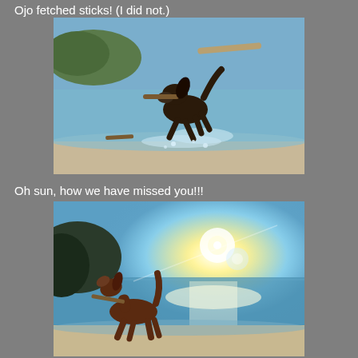Ojo fetched sticks! (I did not.)
[Figure (photo): A dark brown/black dog running through shallow ocean waves at a beach, carrying a stick in its mouth, mid-leap with water splashing around its legs. Trees and shoreline visible in background.]
Oh sun, how we have missed you!!!
[Figure (photo): A brown dog standing on a beach with a stick, looking up. The sun is shining brightly over the ocean, creating a lens flare effect. The scene is backlit with the sun low on the horizon reflecting on the water.]